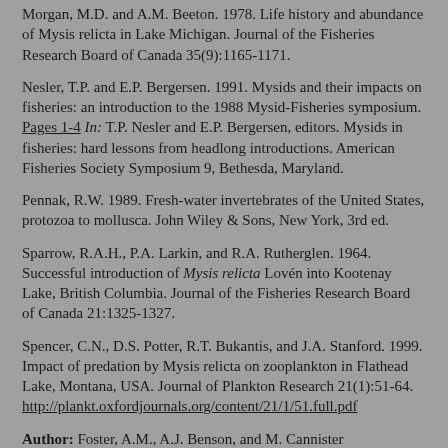Morgan, M.D. and A.M. Beeton. 1978. Life history and abundance of Mysis relicta in Lake Michigan. Journal of the Fisheries Research Board of Canada 35(9):1165-1171.
Nesler, T.P. and E.P. Bergersen. 1991. Mysids and their impacts on fisheries: an introduction to the 1988 Mysid-Fisheries symposium. Pages 1-4 In: T.P. Nesler and E.P. Bergersen, editors. Mysids in fisheries: hard lessons from headlong introductions. American Fisheries Society Symposium 9, Bethesda, Maryland.
Pennak, R.W. 1989. Fresh-water invertebrates of the United States, protozoa to mollusca. John Wiley & Sons, New York, 3rd ed.
Sparrow, R.A.H., P.A. Larkin, and R.A. Rutherglen. 1964. Successful introduction of Mysis relicta Lovén into Kootenay Lake, British Columbia. Journal of the Fisheries Research Board of Canada 21:1325-1327.
Spencer, C.N., D.S. Potter, R.T. Bukantis, and J.A. Stanford. 1999. Impact of predation by Mysis relicta on zooplankton in Flathead Lake, Montana, USA. Journal of Plankton Research 21(1):51-64. http://plankt.oxfordjournals.org/content/21/1/51.full.pdf
Author: Foster, A.M., A.J. Benson, and M. Cannister